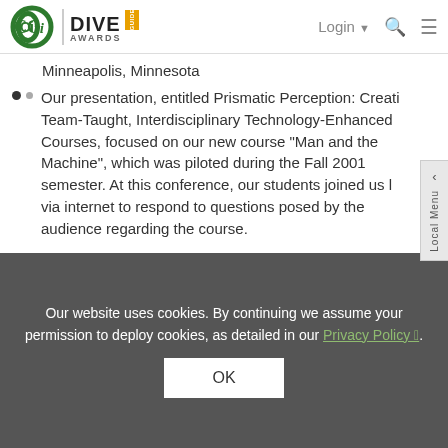CCRI | DIVE AWARDS GUIDE — Login  Search  Menu
Minneapolis, Minnesota
Our presentation, entitled Prismatic Perception: Creating Team-Taught, Interdisciplinary Technology-Enhanced Courses, focused on our new course "Man and the Machine", which was piloted during the Fall 2001 semester. At this conference, our students joined us live via internet to respond to questions posed by the audience regarding the course.
October 12, 2001 - Learning Communities at CCRI: First Steps and Future Directions
Our website uses cookies. By continuing we assume your permission to deploy cookies, as detailed in our Privacy Policy.